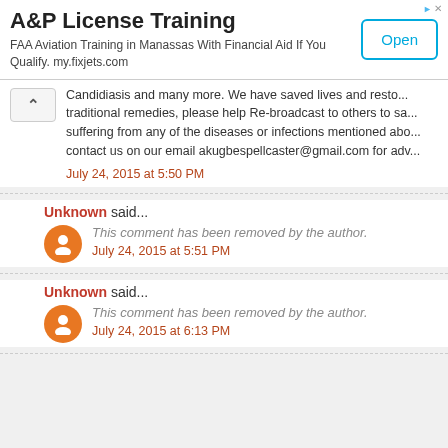[Figure (screenshot): Advertisement banner for A&P License Training with Open button]
Candidiasis and many more. We have saved lives and resto... traditional remedies, please help Re-broadcast to others to sa... suffering from any of the diseases or infections mentioned abo... contact us on our email akugbespellcaster@gmail.com for adv...
July 24, 2015 at 5:50 PM
Unknown said...
This comment has been removed by the author.
July 24, 2015 at 5:51 PM
Unknown said...
This comment has been removed by the author.
July 24, 2015 at 6:13 PM